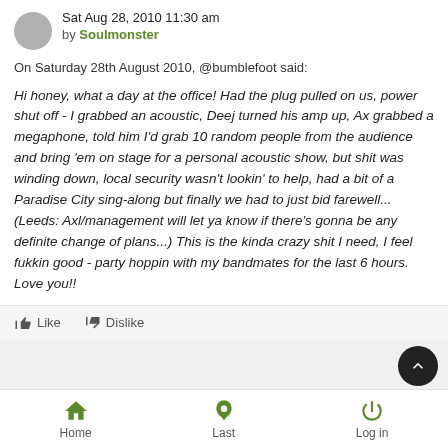Sat Aug 28, 2010 11:30 am by Soulmonster
On Saturday 28th August 2010, @bumblefoot said:
Hi honey, what a day at the office! Had the plug pulled on us, power shut off - I grabbed an acoustic, Deej turned his amp up, Ax grabbed a megaphone, told him I'd grab 10 random people from the audience and bring 'em on stage for a personal acoustic show, but shit was winding down, local security wasn't lookin' to help, had a bit of a Paradise City sing-along but finally we had to just bid farewell... (Leeds: Axl/management will let ya know if there's gonna be any definite change of plans...) This is the kinda crazy shit I need, I feel fukkin good - party hoppin with my bandmates for the last 6 hours. Love you!!
Home  Last  Log in